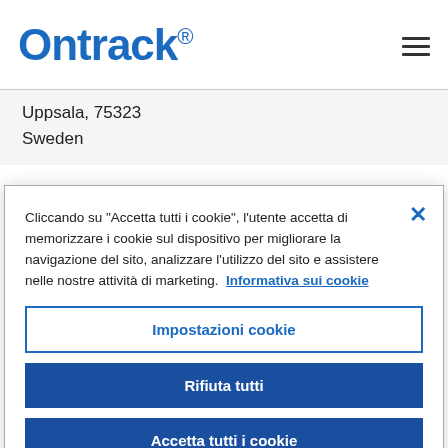Ontrack
Uppsala, 75323
Sweden
Cliccando su "Accetta tutti i cookie", l'utente accetta di memorizzare i cookie sul dispositivo per migliorare la navigazione del sito, analizzare l'utilizzo del sito e assistere nelle nostre attività di marketing. Informativa sui cookie
Impostazioni cookie
Rifiuta tutti
Accetta tutti i cookie